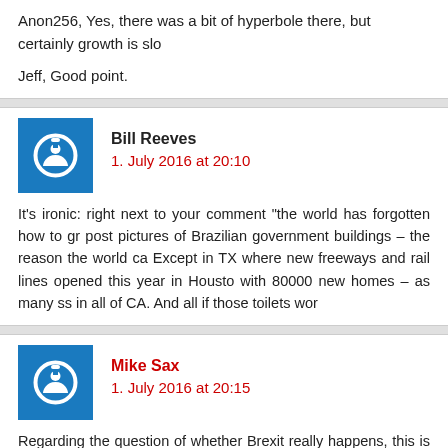Anon256, Yes, there was a bit of hyperbole there, but certainly growth is slo
Jeff, Good point.
Bill Reeves
1. July 2016 at 20:10
It's ironic: right next to your comment “the world has forgotten how to gr post pictures of Brazilian government buildings – the reason the world ca Except in TX where new freeways and rail lines opened this year in Housto with 80000 new homes – as many ss in all of CA. And all if those toilets wor
Mike Sax
1. July 2016 at 20:15
Regarding the question of whether Brexit really happens, this is at least so news for those who hope it doesn’t.
“Support for Theresa May is surging among Conservative MPs, with alm now backing her bid to become party leader as Michael Gove’s late entry race struggled to gain momentum.”
“Nicoll…